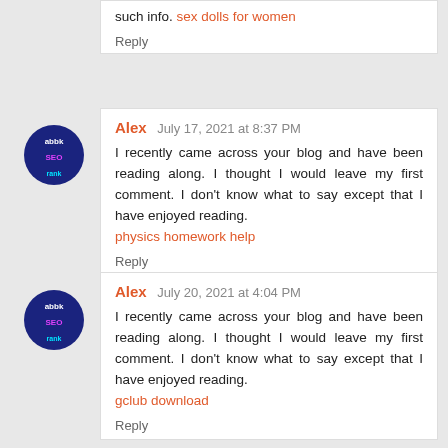such info. sex dolls for women
Reply
[Figure (logo): Circular dark blue avatar with abbk/SEO/rank text logo]
Alex July 17, 2021 at 8:37 PM
I recently came across your blog and have been reading along. I thought I would leave my first comment. I don't know what to say except that I have enjoyed reading.
physics homework help
Reply
[Figure (logo): Circular dark blue avatar with abbk/SEO/rank text logo]
Alex July 20, 2021 at 4:04 PM
I recently came across your blog and have been reading along. I thought I would leave my first comment. I don't know what to say except that I have enjoyed reading.
gclub download
Reply
[Figure (logo): Circular dark blue avatar with abbk/SEO/rank text logo]
Alex July 24, 2021 at 6:41 PM